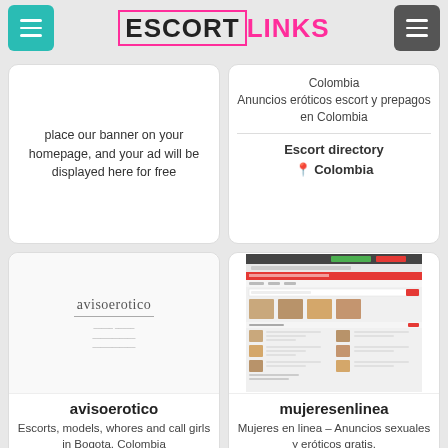ESCORTLINKS
place our banner on your homepage, and your ad will be displayed here for free
Colombia
Anuncios eróticos escort y prepagos en Colombia
Escort directory 📍 Colombia
[Figure (screenshot): avisoerotico website logo placeholder]
avisoerotico
Escorts, models, whores and call girls in Bogota, Colombia
[Figure (screenshot): mujeresenlinea website screenshot showing escort listings]
mujeresenlinea
Mujeres en linea – Anuncios sexuales y eróticos gratis.